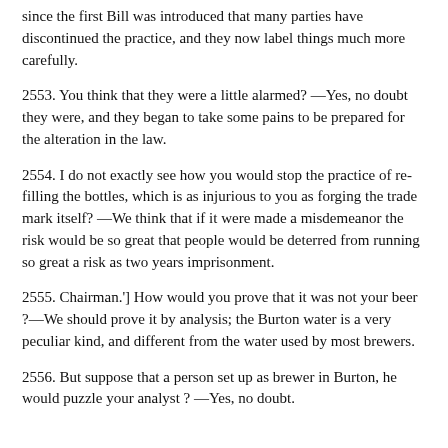since the first Bill was introduced that many parties have discontinued the practice, and they now label things much more carefully.
2553. You think that they were a little alarmed? —Yes, no doubt they were, and they began to take some pains to be prepared for the alteration in the law.
2554. I do not exactly see how you would stop the practice of re-filling the bottles, which is as injurious to you as forging the trade mark itself? —We think that if it were made a misdemeanor the risk would be so great that people would be deterred from running so great a risk as two years imprisonment.
2555. Chairman.'] How would you prove that it was not your beer ?—We should prove it by analysis; the Burton water is a very peculiar kind, and different from the water used by most brewers.
2556. But suppose that a person set up as brewer in Burton, he would puzzle your analyst ? —Yes, no doubt.